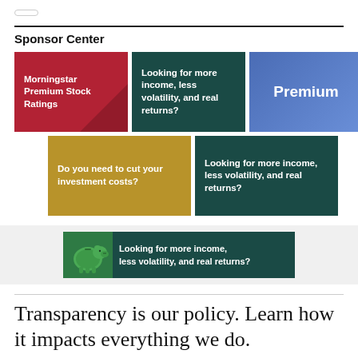[Figure (other): Rounded pill-shaped button at top left]
Sponsor Center
[Figure (other): Red advertisement box: Morningstar Premium Stock Ratings]
[Figure (other): Teal advertisement box: Looking for more income, less volatility, and real returns?]
[Figure (other): Blue gradient advertisement box: Premium]
[Figure (other): Gold advertisement box: Do you need to cut your investment costs?]
[Figure (other): Teal advertisement box: Looking for more income, less volatility, and real returns?]
[Figure (other): Banner advertisement with piggy bank: Looking for more income, less volatility, and real returns?]
Transparency is our policy. Learn how it impacts everything we do.